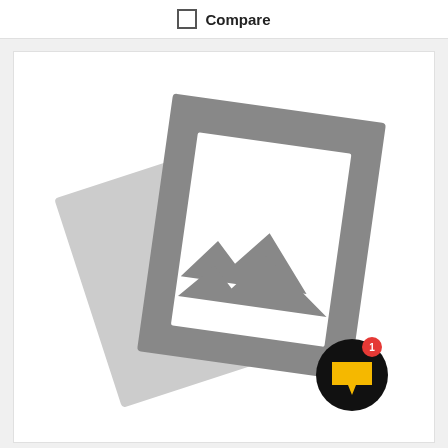Compare
[Figure (illustration): Placeholder image icon showing two overlapping polaroid-style photo cards (one light gray rotated left, one darker gray rotated right with a mountain/landscape placeholder icon inside), with a circular black notification button with a yellow chat/flag icon and a red badge showing '1' in the bottom-right corner.]